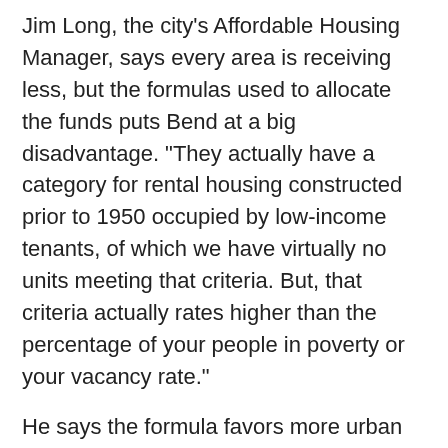Jim Long, the city's Affordable Housing Manager, says every area is receiving less, but the formulas used to allocate the funds puts Bend at a big disadvantage. "They actually have a category for rental housing constructed prior to 1950 occupied by low-income tenants, of which we have virtually no units meeting that criteria. But, that criteria actually rates higher than the percentage of your people in poverty or your vacancy rate."
He says the formula favors more urban areas. He tells KBND News, "I'm not by any means throwing any shade on Corvallis at all, but, for example, they have 70% of our size in population and they also have $23,000 higher per year, per capita income; but they get over 1.5 times the federal funding we do. Eugene, they're not even twice our size; they get five times the amount of funding we do. Salem's not even twice our size; they get 4.5 times the amount of funding we